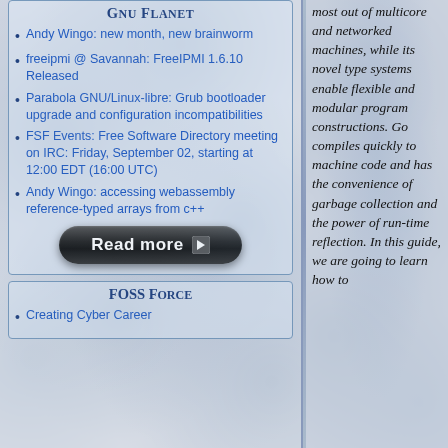GNU PLANET
Andy Wingo: new month, new brainworm
freeipmi @ Savannah: FreeIPMI 1.6.10 Released
Parabola GNU/Linux-libre: Grub bootloader upgrade and configuration incompatibilities
FSF Events: Free Software Directory meeting on IRC: Friday, September 02, starting at 12:00 EDT (16:00 UTC)
Andy Wingo: accessing webassembly reference-typed arrays from c++
[Figure (other): Read more button — dark rounded pill-shaped button with white bold text 'Read more' and a right-pointing arrow]
FOSS FORCE
Creating Cyber Career ...
most out of multicore and networked machines, while its novel type systems enable flexible and modular program constructions. Go compiles quickly to machine code and has the convenience of garbage collection and the power of run-time reflection. In this guide, we are going to learn how to